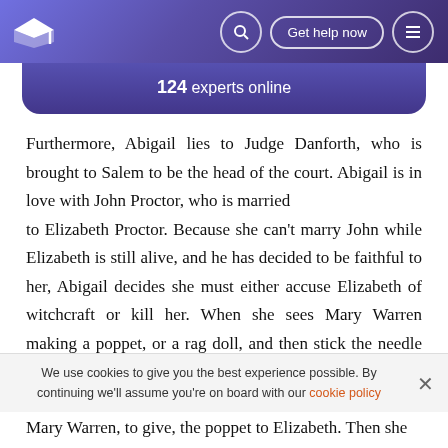124 experts online
Furthermore, Abigail lies to Judge Danforth, who is brought to Salem to be the head of the court. Abigail is in love with John Proctor, who is married to Elizabeth Proctor. Because she can't marry John while Elizabeth is still alive, and he has decided to be faithful to her, Abigail decides she must either accuse Elizabeth of witchcraft or kill her. When she sees Mary Warren making a poppet, or a rag doll, and then stick the needle that she used into the doll so as not to lose it, she has an idea. Fully aware Mary Warren, to give, the poppet to Elizabeth. Then she
We use cookies to give you the best experience possible. By continuing we'll assume you're on board with our cookie policy